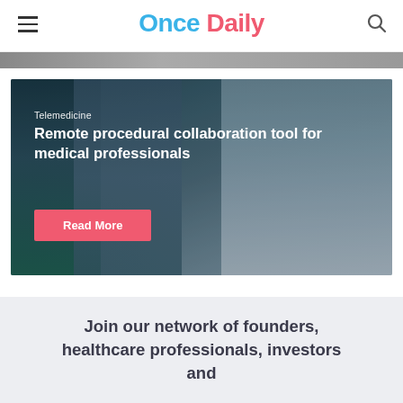Once Daily
[Figure (photo): Partial view of a previous article image at top of page]
[Figure (photo): Surgical operating room scene with medical professionals in blue scrubs around equipment and a telemedicine screen]
Telemedicine
Remote procedural collaboration tool for medical professionals
Read More
Join our network of founders, healthcare professionals, investors and